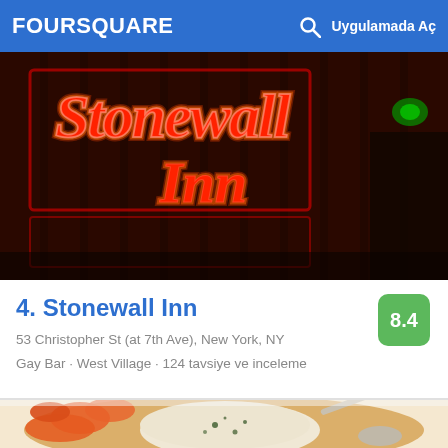FOURSQUARE  Uygulamada Aç
[Figure (photo): Stonewall Inn neon sign glowing red on dark background with red neon cursive text reading 'Stonewall Inn']
4. Stonewall Inn
53 Christopher St (at 7th Ave), New York, NY
Gay Bar · West Village · 124 tavsiye ve inceleme
[Figure (photo): Close-up food photo showing soup or stew with carrots and a matzah ball or dumpling in a white bowl with a spoon]